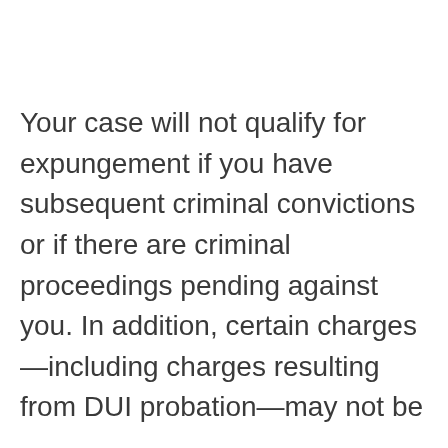Your case will not qualify for expungement if you have subsequent criminal convictions or if there are criminal proceedings pending against you. In addition, certain charges—including charges resulting from DUI probation—may not be